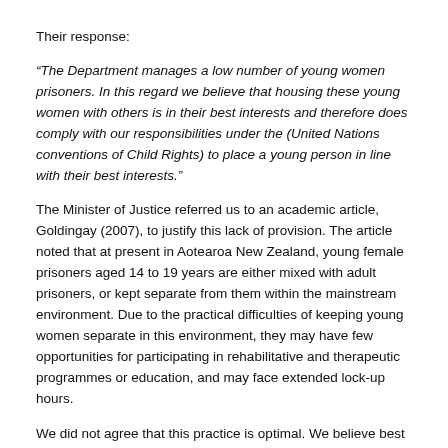Their response:
“The Department manages a low number of young women prisoners. In this regard we believe that housing these young women with others is in their best interests and therefore does comply with our responsibilities under the (United Nations conventions of Child Rights) to place a young person in line with their best interests.”
The Minister of Justice referred us to an academic article, Goldingay (2007), to justify this lack of provision. The article noted that at present in Aotearoa New Zealand, young female prisoners aged 14 to 19 years are either mixed with adult prisoners, or kept separate from them within the mainstream environment. Due to the practical difficulties of keeping young women separate in this environment, they may have few opportunities for participating in rehabilitative and therapeutic programmes or education, and may face extended lock-up hours.
We did not agree that this practice is optimal. We believe best and agreed practice, as asserted by the United Nations, needs to be followed in creating female youth-focused programmes that...